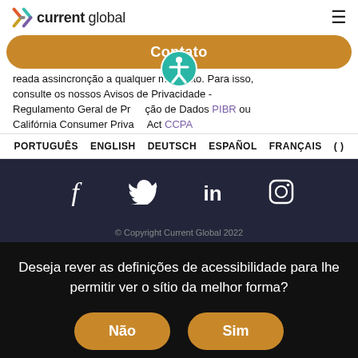current global
Contato
reada assincronção a qualquer momento. Para isso, consulte os nossos Avisos de Privacidade - Regulamento Geral de Proteção de Dados PIBR ou Califórnia Consumer Privacy Act CCPA
PORTUGUÊS  ENGLISH  DEUTSCH  ESPAÑOL  FRANÇAIS  ( )
[Figure (illustration): Social media icons: Facebook, Twitter, LinkedIn, Instagram on dark background]
© Copyright Current Global 2022
Deseja rever as definições de acessibilidade para lhe permitir ver o sítio da melhor forma?
Não   Sim